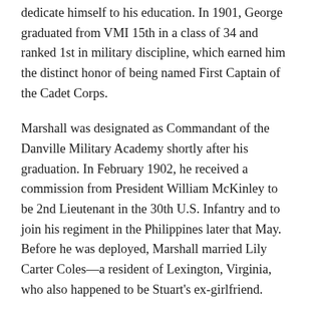dedicate himself to his education. In 1901, George graduated from VMI 15th in a class of 34 and ranked 1st in military discipline, which earned him the distinct honor of being named First Captain of the Cadet Corps.
Marshall was designated as Commandant of the Danville Military Academy shortly after his graduation. In February 1902, he received a commission from President William McKinley to be 2nd Lieutenant in the 30th U.S. Infantry and to join his regiment in the Philippines later that May. Before he was deployed, Marshall married Lily Carter Coles—a resident of Lexington, Virginia, who also happened to be Stuart's ex-girlfriend.